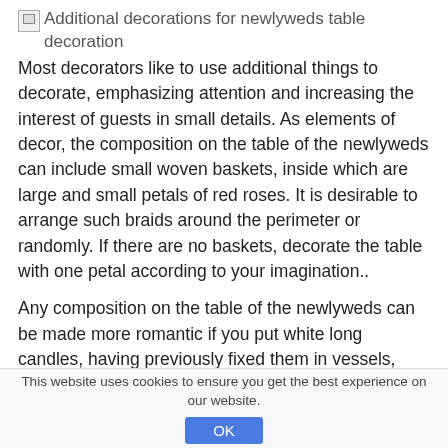[Figure (other): Broken image placeholder with alt text: Additional decorations for newlyweds table decoration]
Most decorators like to use additional things to decorate, emphasizing attention and increasing the interest of guests in small details. As elements of decor, the composition on the table of the newlyweds can include small woven baskets, inside which are large and small petals of red roses. It is desirable to arrange such braids around the perimeter or randomly. If there are no baskets, decorate the table with one petal according to your imagination..
Any composition on the table of the newlyweds can be made more romantic if you put white long candles, having previously fixed them in vessels, candlesticks or candelabra. An important nuance - they must be combined with other decorations on the table and serving. Medium-sized sea and /
This website uses cookies to ensure you get the best experience on our website.